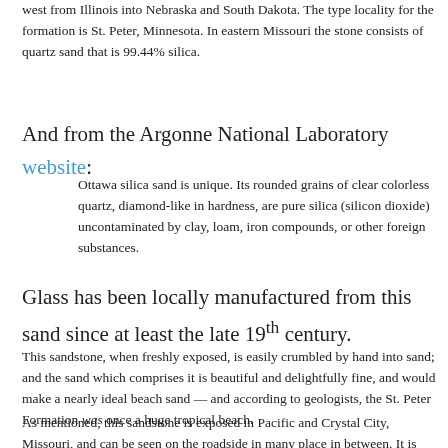west from Illinois into Nebraska and South Dakota. The type locality for the formation is St. Peter, Minnesota. In eastern Missouri the stone consists of quartz sand that is 99.44% silica.
And from the Argonne National Laboratory website:
Ottawa silica sand is unique. Its rounded grains of clear colorless quartz, diamond-like in hardness, are pure silica (silicon dioxide) uncontaminated by clay, loam, iron compounds, or other foreign substances.
Glass has been locally manufactured from this sand since at least the late 19th century.
This sandstone, when freshly exposed, is easily crumbled by hand into sand; and the sand which comprises it is beautiful and delightfully fine, and would make a nearly ideal beach sand — and according to geologists, the St. Peter Formation was once a huge tropical beach.
As mentioned, this sandstone is exposed in Pacific and Crystal City, Missouri, and can be seen on the roadside in many place in between.  It is also exposed at the abandoned